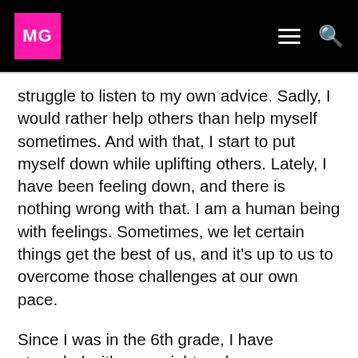MG
struggle to listen to my own advice. Sadly, I would rather help others than help myself sometimes. And with that, I start to put myself down while uplifting others. Lately, I have been feeling down, and there is nothing wrong with that. I am a human being with feelings. Sometimes, we let certain things get the best of us, and it’s up to us to overcome those challenges at our own pace.
Since I was in the 6th grade, I have struggled with my weight and my appearance. While other